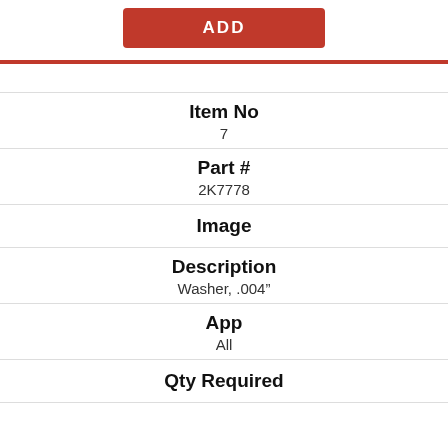ADD
| Item No | Part # | Image | Description | App | Qty Required |
| --- | --- | --- | --- | --- | --- |
| 7 | 2K7778 |  | Washer, .004” | All |  |